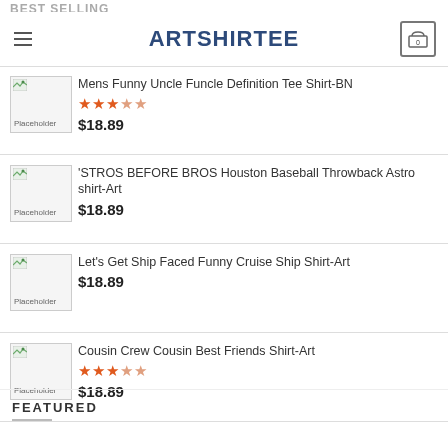ARTSHIRTEE
BEST SELLING
Mens Funny Uncle Funcle Definition Tee Shirt-BN
★★★☆☆
$18.89
'STROS BEFORE BROS Houston Baseball Throwback Astro shirt-Art
$18.89
Let's Get Ship Faced Funny Cruise Ship Shirt-Art
$18.89
Cousin Crew Cousin Best Friends Shirt-Art
★★★☆☆
$18.89
FEATURED